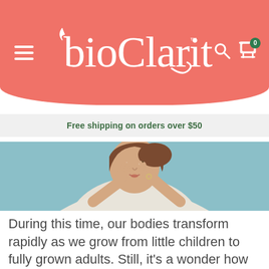bioClarity
Free shipping on orders over $50
[Figure (photo): Woman with brown hair touching her cheek/face with two fingers against a teal/blue background, wearing a white shirt, appearing to examine a blemish]
During this time, our bodies transform rapidly as we grow from little children to fully grown adults. Still, it's a wonder how some people never get acne, others have acne that fades over time, and some suffer from consistent